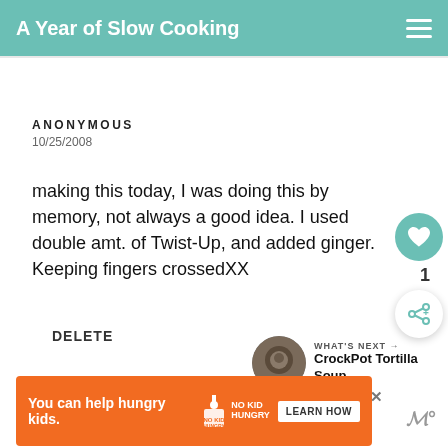A Year of Slow Cooking
ANONYMOUS
10/25/2008
making this today, I was doing this by memory, not always a good idea. I used double amt. of Twist-Up, and added ginger. Keeping fingers crossedXX
DELETE
WHAT'S NEXT → CrockPot Tortilla Soup...
You can help hungry kids.  NO KID HUNGRY  LEARN HOW